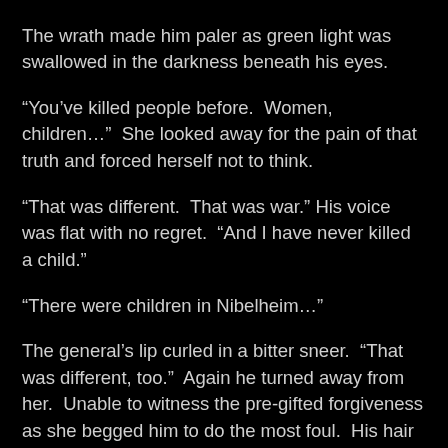The wrath made him paler as green light was swallowed in the darkness beneath his eyes.
“You’ve killed people before.  Women, children…”  She looked away for the pain of that truth and forced herself not to think.
“That was different.  That was war.” His voice was flat with no regret.  “And I have never killed a child.”
“There were children in Nibelheim…”
The general’s lip curled in a bitter sneer.  “That was different, too.”  Again he turned away from her.  Unable to witness the pre-gifted forgiveness as she begged him to do the most foul.  His hair swept soft against his coat like snow in the abyss.  Closing his eyes to what was